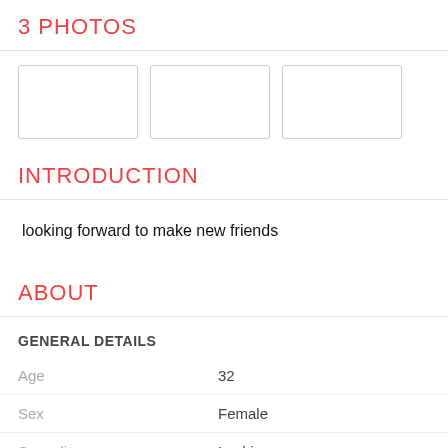3 PHOTOS
[Figure (other): Three empty photo placeholder boxes arranged in a row]
INTRODUCTION
looking forward to make new friends
ABOUT
GENERAL DETAILS
Age: 32
Sex: Female
Sexuality: Lesbian